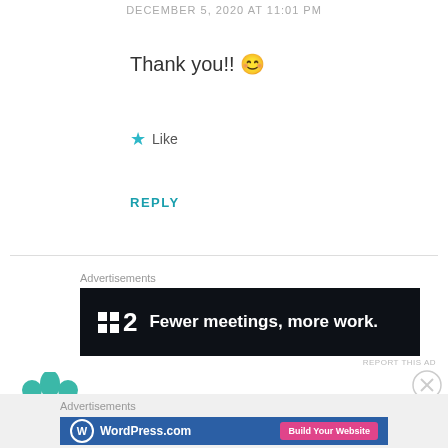DECEMBER 5, 2020 AT 11:01 PM
Thank you!! 😊
★ Like
REPLY
Advertisements
[Figure (screenshot): Advertisement banner: dark background with P2 logo and text 'Fewer meetings, more work.']
REPORT THIS AD
[Figure (logo): Anonymous user avatar - teal geometric floral pattern]
Anonymous
Advertisements
[Figure (screenshot): WordPress.com advertisement banner with 'Build Your Website' button]